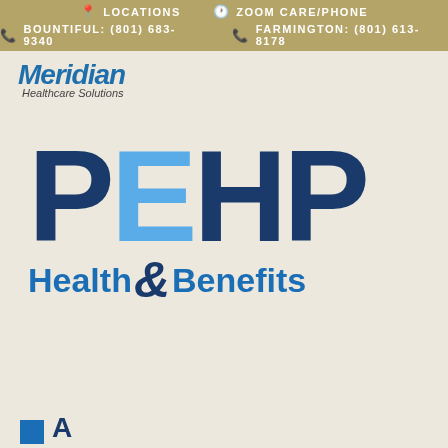LOCATIONS   ZOOM CARE/PHONE   BOUNTIFUL: (801) 683-9340   FARMINGTON: (801) 613-8178
[Figure (logo): Meridian Healthcare Solutions logo — stylized blue italic text with tagline 'Healthcare Solutions']
[Figure (logo): PEHP Health & Benefits logo — large bold 'PEHP' letters with 'E' in light blue and rest in dark navy, subtitle 'Health & Benefits' in blue with stylized ampersand]
[Figure (logo): Partial logo visible at bottom of page — blue square icon and partial dark blue bold text]